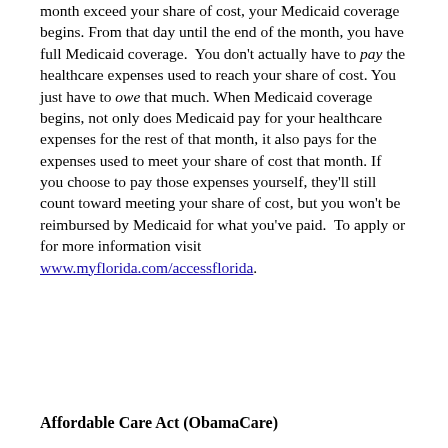month exceed your share of cost, your Medicaid coverage begins. From that day until the end of the month, you have full Medicaid coverage. You don't actually have to pay the healthcare expenses used to reach your share of cost. You just have to owe that much. When Medicaid coverage begins, not only does Medicaid pay for your healthcare expenses for the rest of that month, it also pays for the expenses used to meet your share of cost that month. If you choose to pay those expenses yourself, they'll still count toward meeting your share of cost, but you won't be reimbursed by Medicaid for what you've paid. To apply or for more information visit www.myflorida.com/accessflorida.
Affordable Care Act (ObamaCare)